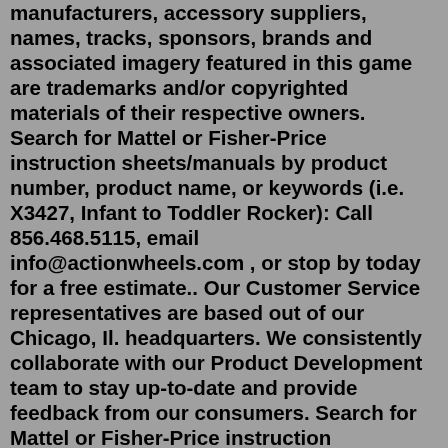manufacturers, accessory suppliers, names, tracks, sponsors, brands and associated imagery featured in this game are trademarks and/or copyrighted materials of their respective owners. Search for Mattel or Fisher-Price instruction sheets/manuals by product number, product name, or keywords (i.e. X3427, Infant to Toddler Rocker): Call 856.468.5115, email info@actionwheels.com , or stop by today for a free estimate.. Our Customer Service representatives are based out of our Chicago, Il. headquarters. We consistently collaborate with our Product Development team to stay up-to-date and provide feedback from our consumers. Search for Mattel or Fisher-Price instruction sheets/manuals by product number, product name, or keywords (i.e. X3427, Infant to Toddler Rocker): View Products. 24 Volt Battery Compatibal with for Kids Battery Powered Ride On Action Wheels Mega Tredz Motion Trendz Yamaha Grizzly Thunder Tank / Bravo Spotrs Monster Jam Grave Digger 4.4 out of 5 stars 70 Ages: 20 years and up. the wheels and drive system of the